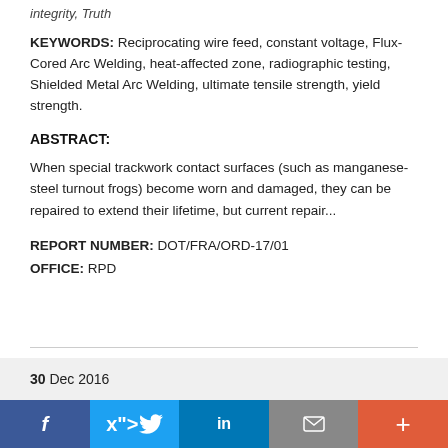integrity, Truth
KEYWORDS: Reciprocating wire feed, constant voltage, Flux-Cored Arc Welding, heat-affected zone, radiographic testing, Shielded Metal Arc Welding, ultimate tensile strength, yield strength.
ABSTRACT:
When special trackwork contact surfaces (such as manganese-steel turnout frogs) become worn and damaged, they can be repaired to extend their lifetime, but current repair...
REPORT NUMBER: DOT/FRA/ORD-17/01
OFFICE: RPD
30 Dec 2016